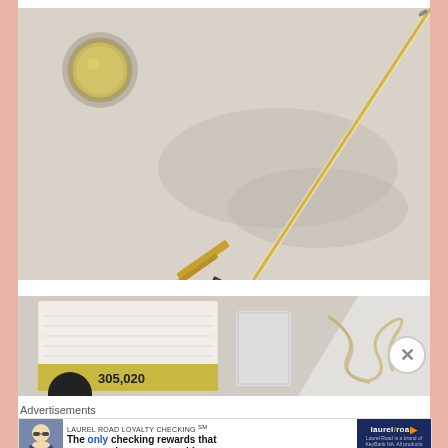[Figure (photo): Close-up photo of a thin gold paintbrush or calligraphy pen and a small round container with golden liquid, on a white surface with soft shadows.]
[Figure (photo): Photo of makeup or craft supplies on a light surface: a stack of wipes or pads in gold-labeled packaging showing partial number '305,020', a clear plastic bag, and a crumpled mesh or ribbon material.]
Advertisements
[Figure (photo): Advertisement banner for Laurel Road Loyalty Checking. Left side shows a woman in sunglasses. Center text: 'LAUREL ROAD LOYALTY CHECKING SM' and 'The only checking rewards that pay you when you get paid.' Right side shows Laurel Road logo on dark blue background with fine print: 'Laurel Road is a brand of KeyBank NA. All products offered by KeyBank NA. Member FDIC.']